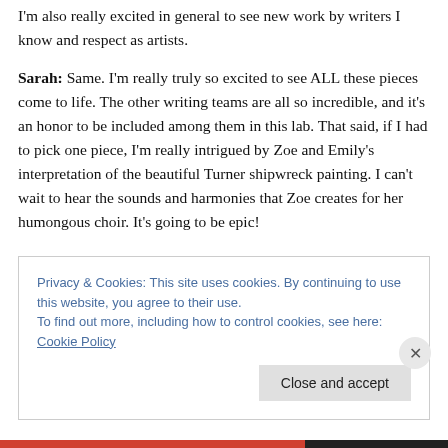I'm also really excited in general to see new work by writers I know and respect as artists.
Sarah: Same. I'm really truly so excited to see ALL these pieces come to life. The other writing teams are all so incredible, and it's an honor to be included among them in this lab. That said, if I had to pick one piece, I'm really intrigued by Zoe and Emily's interpretation of the beautiful Turner shipwreck painting. I can't wait to hear the sounds and harmonies that Zoe creates for her humongous choir. It's going to be epic!
Privacy & Cookies: This site uses cookies. By continuing to use this website, you agree to their use.
To find out more, including how to control cookies, see here: Cookie Policy
Close and accept